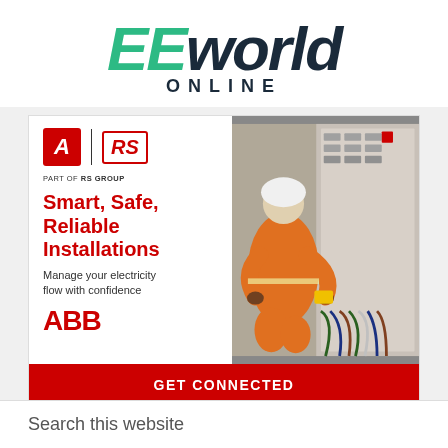[Figure (logo): EEworld ONLINE logo with EE in green italic and world in dark navy italic, ONLINE in dark spaced caps below]
[Figure (infographic): Advertisement banner: Allied Electronics (A logo) and RS Group logo with text PART OF RS GROUP, headline Smart Safe Reliable Installations, subtext Manage your electricity flow with confidence, ABB logo, photo of electrician in orange jumpsuit working on electrical panel, red CTA bar GET CONNECTED]
Search this website